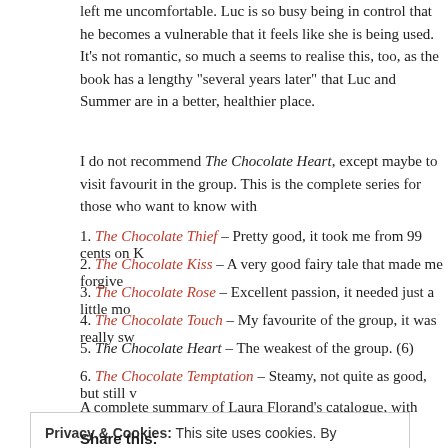left me uncomfortable. Luc is so busy being in control that he becomes a vulnerable that it feels like she is being used. It's not romantic, so much a seems to realise this, too, as the book has a lengthy "several years later" that Luc and Summer are in a better, healthier place.
I do not recommend The Chocolate Heart, except maybe to visit favourit in the group. This is the complete series for those who want to know with
The Chocolate Thief – Pretty good, it took me from 99 cents on K
The Chocolate Kiss – A very good fairy tale that made me forgive
The Chocolate Rose – Excellent passion, it needed just a little mo
The Chocolate Touch – My favourite of the group, it was really sw
The Chocolate Heart – The weakest of the group. (6)
The Chocolate Temptation – Steamy, not quite as good, but still v
A complete summary of Laura Florand's catalogue, with recommendation
Privacy & Cookies: This site uses cookies. By continuing to use this website, you agree to their use. To find out more, including how to control cookies, see here: Cookie Policy
Close and accept
Share this: